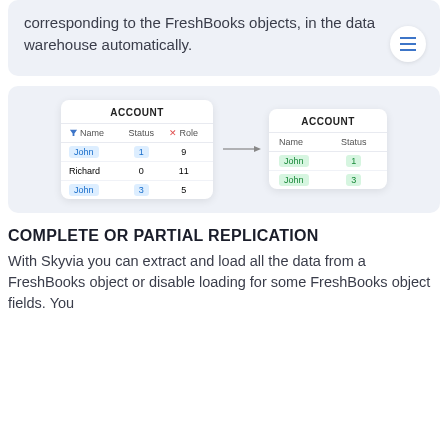corresponding to the FreshBooks objects, in the data warehouse automatically.
[Figure (infographic): Database table diagram showing filtering: left ACCOUNT table with columns Name (filter icon), Status, Role (X icon) and rows John/1/9, Richard/0/11, John/3/5, with an arrow pointing to right ACCOUNT table showing only Name and Status columns with rows John/1 and John/3 highlighted in green badges.]
COMPLETE OR PARTIAL REPLICATION
With Skyvia you can extract and load all the data from a FreshBooks object or disable loading for some FreshBooks object fields. You